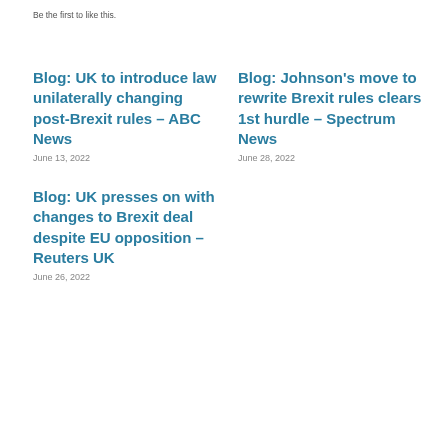Be the first to like this.
Blog: UK to introduce law unilaterally changing post-Brexit rules – ABC News
June 13, 2022
Blog: Johnson's move to rewrite Brexit rules clears 1st hurdle – Spectrum News
June 28, 2022
Blog: UK presses on with changes to Brexit deal despite EU opposition – Reuters UK
June 26, 2022